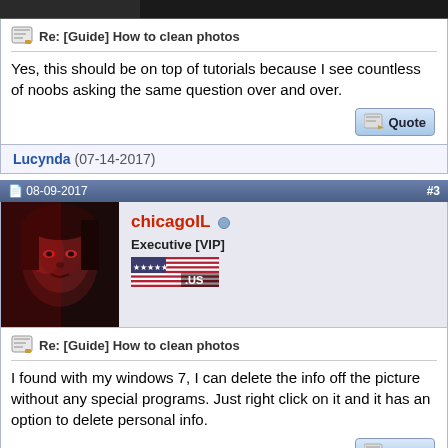Re: [Guide] How to clean photos
Yes, this should be on top of tutorials because I see countless of noobs asking the same question over and over.
Lucynda (07-14-2017)
08-09-2017   #3
[Figure (photo): Avatar of chicagoIL - woman with red-toned face against dark background]
chicagoIL  Executive [VIP]
[Figure (illustration): US flag banner with .US text]
Re: [Guide] How to clean photos
I found with my windows 7, I can delete the info off the picture without any special programs. Just right click on it and it has an option to delete personal info.
Warrioressone (09-17-2017)